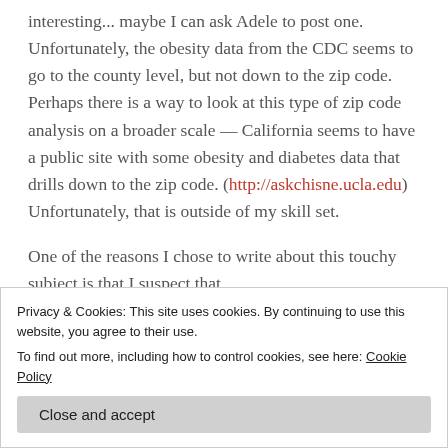interesting... maybe I can ask Adele to post one. Unfortunately, the obesity data from the CDC seems to go to the county level, but not down to the zip code. Perhaps there is a way to look at this type of zip code analysis on a broader scale — California seems to have a public site with some obesity and diabetes data that drills down to the zip code. (http://askchisne.ucla.edu) Unfortunately, that is outside of my skill set.

One of the reasons I chose to write about this touchy subject is that I suspect that
Privacy & Cookies: This site uses cookies. By continuing to use this website, you agree to their use.
To find out more, including how to control cookies, see here: Cookie Policy
people having success with the status quo.